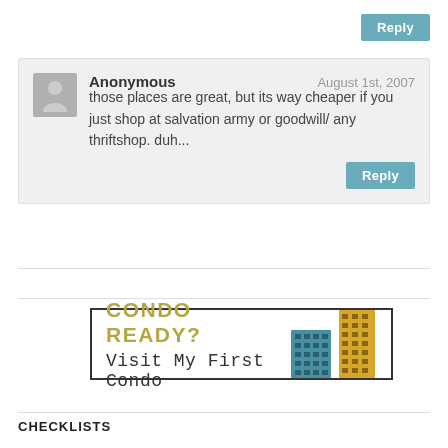Reply
Anonymous
August 1st, 2007
those places are great, but its way cheaper if you just shop at salvation army or goodwill/ any thriftshop. duh...
Reply
[Figure (infographic): Advertisement banner for 'My First Condo' with text 'CONDO READY? Visit My First Condo' and two building icons (teal and yellow skyscrapers)]
CHECKLISTS